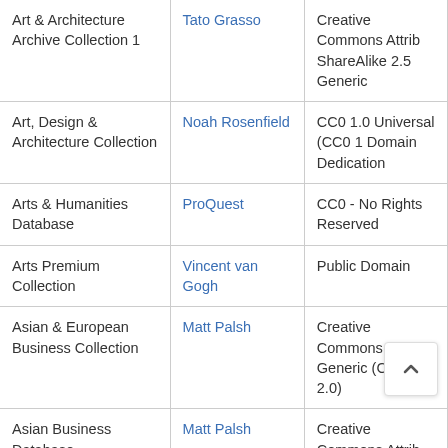| Collection | Contributor | License |
| --- | --- | --- |
| Art & Architecture Archive Collection 1 | Tato Grasso | Creative Commons Attribution ShareAlike 2.5 Generic |
| Art, Design & Architecture Collection | Noah Rosenfield | CC0 1.0 Universal (CC0 1.0) Public Domain Dedication |
| Arts & Humanities Database | ProQuest | CC0 - No Rights Reserved |
| Arts Premium Collection | Vincent van Gogh | Public Domain |
| Asian & European Business Collection | Matt Palsh | Creative Commons Attribution Generic (CC BY 2.0) |
| Asian Business Database | Matt Palsh | Creative Commons Attribution Generic (CC BY 2.0) |
| Australia & New Zealand Database | Parliament House, Canberra, Australia | GNU Free Documentation... |
| Avery Index to | Gerrit Vermeulen | CC0 1.0 Universal (CC0 1... |